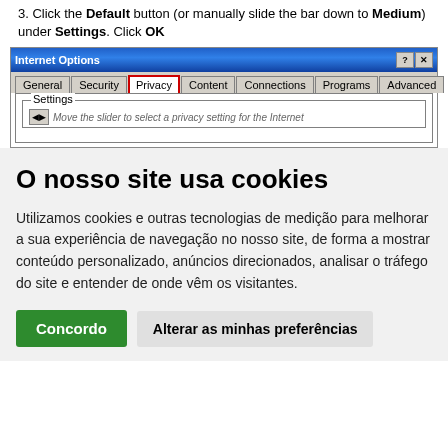3. Click the Default button (or manually slide the bar down to Medium) under Settings. Click OK
[Figure (screenshot): Internet Options dialog box screenshot showing tabs: General, Security, Privacy (highlighted with red border), Content, Connections, Programs, Advanced. Settings section visible at bottom.]
O nosso site usa cookies
Utilizamos cookies e outras tecnologias de medição para melhorar a sua experiência de navegação no nosso site, de forma a mostrar conteúdo personalizado, anúncios direcionados, analisar o tráfego do site e entender de onde vêm os visitantes.
Concordo | Alterar as minhas preferências